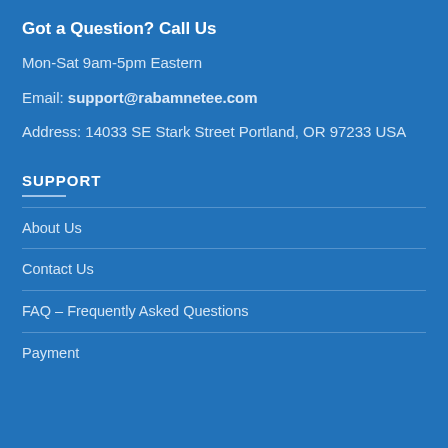Got a Question? Call Us
Mon-Sat 9am-5pm Eastern
Email: support@rabamnetee.com
Address: 14033 SE Stark Street Portland, OR 97233 USA
SUPPORT
About Us
Contact Us
FAQ – Frequently Asked Questions
Payment